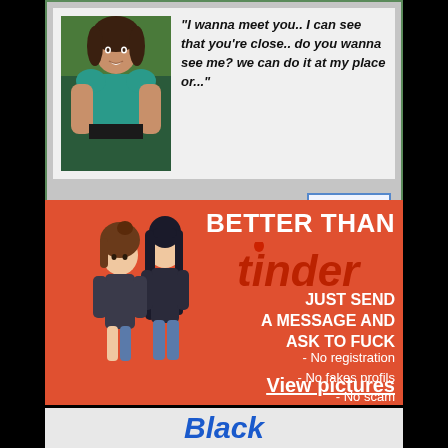[Figure (photo): Dialog popup with photo of a woman and italic bold text quote about meeting]
"I wanna meet you.. I can see that you're close.. do you wanna see me? we can do it at my place or..."
Wanna fuck me??
Yes
[Figure (infographic): Orange advertisement banner: BETTER THAN tinder - JUST SEND A MESSAGE AND ASK TO FUCK - No registration - No fakes profils - No scam - View pictures, with anime character illustrations]
[Figure (photo): Bottom banner partially visible with word Black in blue bold italic]